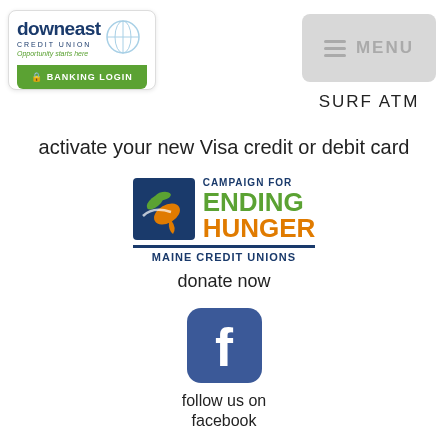[Figure (logo): Downeast Credit Union logo with banking login button]
[Figure (other): Menu button with hamburger icon and MENU text]
SURF ATM
activate your new Visa credit or debit card
[Figure (logo): Campaign for Ending Hunger - Maine Credit Unions logo with carrot icon]
donate now
[Figure (logo): Facebook logo icon (rounded blue square with white f)]
follow us on facebook
[Figure (logo): Partial green circle logo visible at bottom]